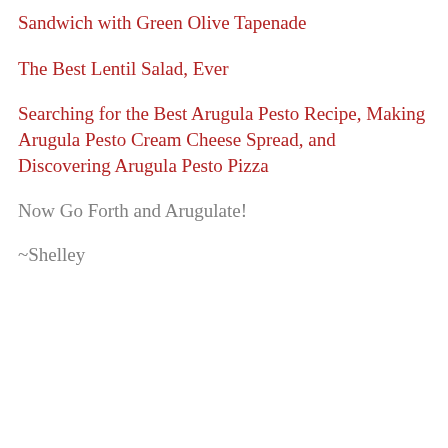Sandwich with Green Olive Tapenade
The Best Lentil Salad, Ever
Searching for the Best Arugula Pesto Recipe, Making Arugula Pesto Cream Cheese Spread, and Discovering Arugula Pesto Pizza
Now Go Forth and Arugulate!
~Shelley